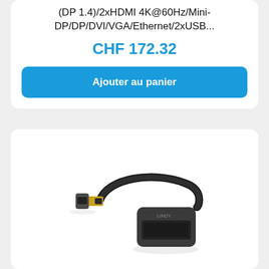(DP 1.4)/2xHDMI 4K@60Hz/Mini-DP/DP/DVI/VGA/Ethernet/2xUSB...
CHF 172.32
Ajouter au panier
[Figure (photo): A dark gray Mini DisplayPort to HDMI adapter cable. The adapter has a short flexible black cable with a Mini-DP male connector on one end and an HDMI female port on a rectangular dark gray housing on the other end.]